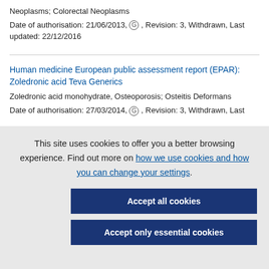Neoplasms; Colorectal Neoplasms
Date of authorisation: 21/06/2013, G , Revision: 3, Withdrawn, Last updated: 22/12/2016
Human medicine European public assessment report (EPAR): Zoledronic acid Teva Generics
Zoledronic acid monohydrate, Osteoporosis; Osteitis Deformans
Date of authorisation: 27/03/2014, G , Revision: 3, Withdrawn, Last
This site uses cookies to offer you a better browsing experience. Find out more on how we use cookies and how you can change your settings.
Accept all cookies
Accept only essential cookies